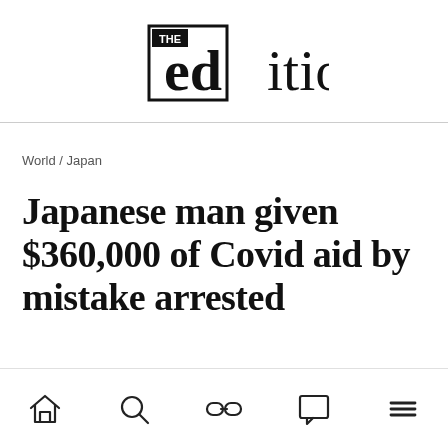THE edition
World / Japan
Japanese man given $360,000 of Covid aid by mistake arrested
[Figure (infographic): Bottom navigation bar with five icons: home, search, link/chain, comment/chat, and hamburger menu]